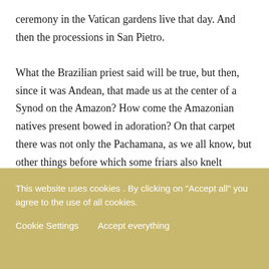ceremony in the Vatican gardens live that day. And then the processions in San Pietro.

What the Brazilian priest said will be true, but then, since it was Andean, that made us at the center of a Synod on the Amazon? How come the Amazonian natives present bowed in adoration? On that carpet there was not only the Pachamana, as we all know, but other things before which some friars also knelt
This website uses cookies . By clicking on "Accept all" you agree to the use of all cookies.
Cookie Settings
Accept everything